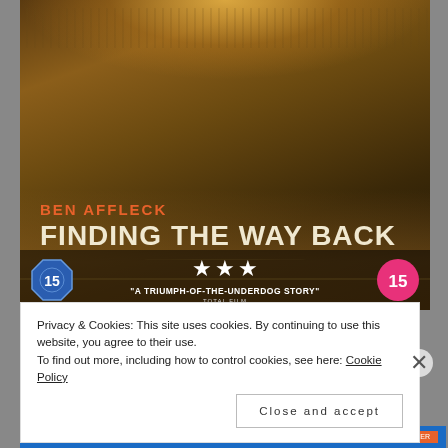[Figure (photo): Movie poster for 'Finding the Way Back' starring Ben Affleck. Dark moody image of a bearded man (seen from behind/side) in a basketball arena with bright overhead lights. Text overlay shows actor name in orange and movie title in large cream/white letters. Bottom strip shows star rating (3 stars), quote 'A TRIUMPH-OF-THE-UNDERDOG STORY' from TOTAL FILM, and two age rating badges (15).]
Privacy & Cookies: This site uses cookies. By continuing to use this website, you agree to their use.
To find out more, including how to control cookies, see here: Cookie Policy
Close and accept